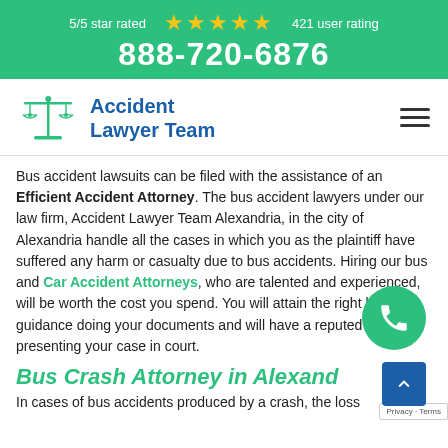5/5 star rated ★★★★★ 421 user rating
888-720-6876
[Figure (logo): Accident Lawyer Team logo with scales of justice icon and hamburger menu]
Bus accident lawsuits can be filed with the assistance of an Efficient Accident Attorney. The bus accident lawyers under our law firm, Accident Lawyer Team Alexandria, in the city of Alexandria handle all the cases in which you as the plaintiff have suffered any harm or casualty due to bus accidents. Hiring our bus and Car Accident Attorneys, who are talented and experienced, will be worth the cost you spend. You will attain the right legal guidance doing your documents and will have a reputed attorney presenting your case in court.
Bus Crash Attorney in Alexandria
In cases of bus accidents produced by a crash, the loss